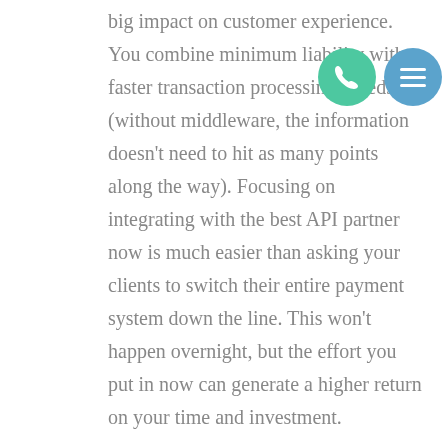big impact on customer experience. You combine minimum liability with faster transaction processing speeds (without middleware, the information doesn't need to hit as many points along the way). Focusing on integrating with the best API partner now is much easier than asking your clients to switch their entire payment system down the line. This won't happen overnight, but the effort you put in now can generate a higher return on your time and investment.

One question to ask when screening prospective API providers regards responsibility for software updates. Does the provider maintain an in-house team that is accountable for updates and